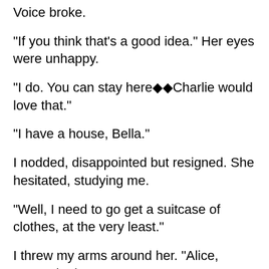Voice broke.
"If you think that's a good idea." Her eyes were unhappy.
"I do. You can stay here◆◆Charlie would love that."
"I have a house, Bella."
I nodded, disappointed but resigned. She hesitated, studying me.
"Well, I need to go get a suitcase of clothes, at the very least."
I threw my arms around her. "Alice, you're the best!"